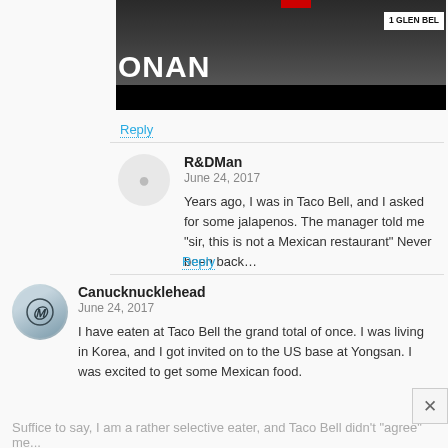[Figure (screenshot): Video thumbnail showing two people with text ONAN and 1 GLEN BEL visible]
Reply
R&DMan
June 24, 2017
Years ago, I was in Taco Bell, and I asked for some jalapenos. The manager told me "sir, this is not a Mexican restaurant" Never been back...
Reply
Canucknucklehead
June 24, 2017
I have eaten at Taco Bell the grand total of once. I was living in Korea, and I got invited on to the US base at Yongsan. I was excited to get some Mexican food.
Suffice to say, I am a rather selective eater, and Taco Bell didn't "agree" me...